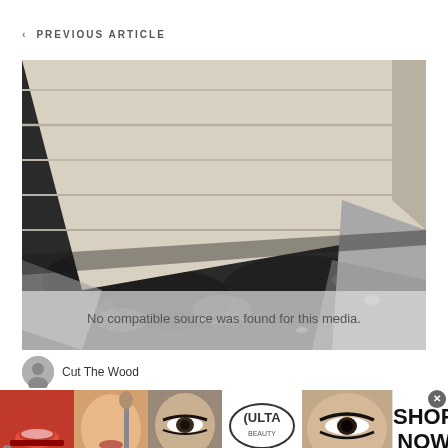< PREVIOUS ARTICLE
[Figure (photo): A wooden bench or table with light-colored wooden slats and concrete/metal legs, photographed outdoors on a dark gravel surface.]
No compatible source was found for this media.
Cut The Wood
[Figure (photo): Ulta Beauty advertisement banner showing cosmetic model images and the Ulta logo with SHOP NOW text.]